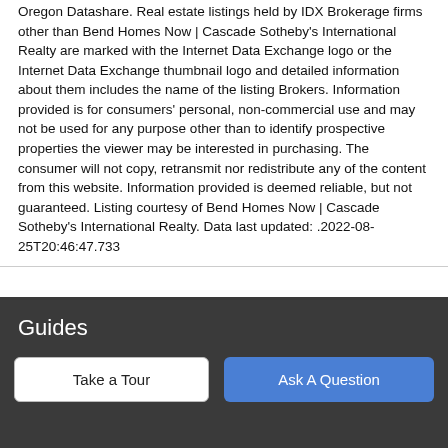Oregon Datashare. Real estate listings held by IDX Brokerage firms other than Bend Homes Now | Cascade Sotheby's International Realty are marked with the Internet Data Exchange logo or the Internet Data Exchange thumbnail logo and detailed information about them includes the name of the listing Brokers. Information provided is for consumers' personal, non-commercial use and may not be used for any purpose other than to identify prospective properties the viewer may be interested in purchasing. The consumer will not copy, retransmit nor redistribute any of the content from this website. Information provided is deemed reliable, but not guaranteed. Listing courtesy of Bend Homes Now | Cascade Sotheby's International Realty. Data last updated: .2022-08-25T20:46:47.733
Guides
NE Bend
SE Bend
NW Bend